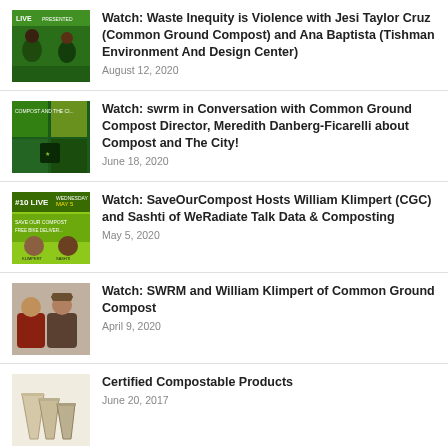Watch: Waste Inequity is Violence with Jesi Taylor Cruz (Common Ground Compost) and Ana Baptista (Tishman Environment And Design Center)
August 12, 2020
Watch: swrm in Conversation with Common Ground Compost Director, Meredith Danberg-Ficarelli about Compost and The City!
June 18, 2020
Watch: SaveOurCompost Hosts William Klimpert (CGC) and Sashti of WeRadiate Talk Data & Composting
May 5, 2020
Watch: SWRM and William Klimpert of Common Ground Compost
April 9, 2020
Certified Compostable Products
June 20, 2017